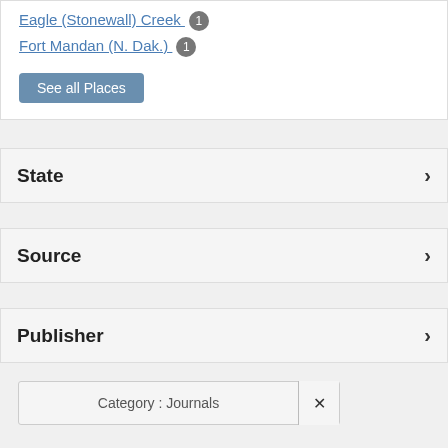Eagle (Stonewall) Creek 1
Fort Mandan (N. Dak.) 1
See all Places
State
Source
Publisher
Category : Journals ✕
Creator : Ordway, John ✕